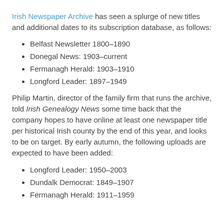Irish Newspaper Archive has seen a splurge of new titles and additional dates to its subscription database, as follows:
Belfast Newsletter 1800–1890
Donegal News: 1903–current
Fermanagh Herald: 1903–1910
Longford Leader: 1897–1949
Philip Martin, director of the family firm that runs the archive, told Irish Genealogy News some time back that the company hopes to have online at least one newspaper title per historical Irish county by the end of this year, and looks to be on target. By early autumn, the following uploads are expected to have been added:
Longford Leader: 1950–2003
Dundalk Democrat: 1849–1907
Fermanagh Herald: 1911–1959